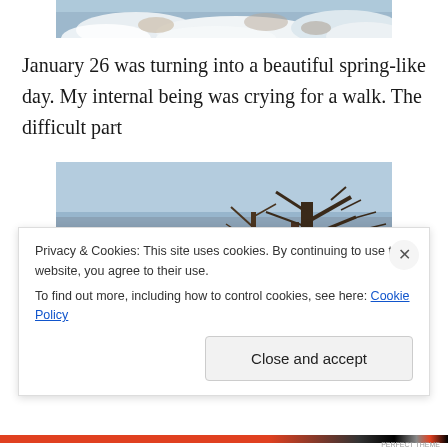[Figure (photo): Partial winter/snow scene photo at top, cropped showing snow and rocks]
January 26 was turning into a beautiful spring-like day. My internal being was crying for a walk. The difficult part
[Figure (photo): Winter river scene with bare trees, snow on the ground, and partially frozen river in background]
Privacy & Cookies: This site uses cookies. By continuing to use this website, you agree to their use.
To find out more, including how to control cookies, see here: Cookie Policy
Close and accept